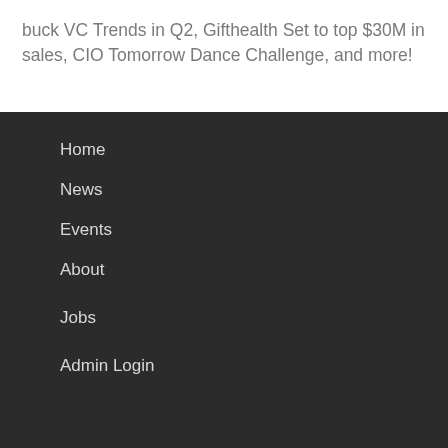buck VC Trends in Q2, Gifthealth Set to top $30M in sales, CIO Tomorrow Dance Challenge, and more!
Home
News
Events
About
Jobs
Admin Login